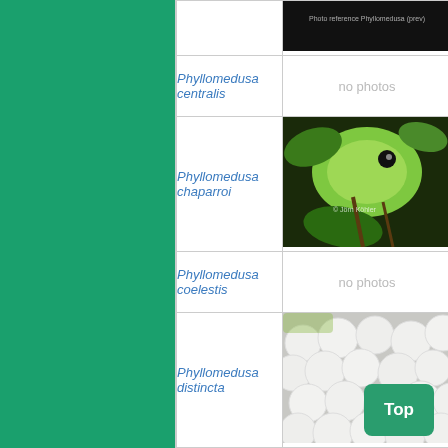[Figure (illustration): Green sidebar background]
| Species | Photo |
| --- | --- |
| Phyllomedusa centralis | no photos |
| Phyllomedusa chaparroi | [photo: green frog on plant, © Jörn Köhler] |
| Phyllomedusa coelestis | no photos |
| Phyllomedusa distincta | [photo: white eggs/spawn close-up] |
|  | [photo: green frog partial] |